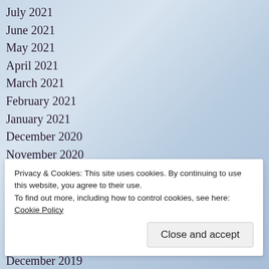July 2021
June 2021
May 2021
April 2021
March 2021
February 2021
January 2021
December 2020
November 2020
October 2020
September 2020
August 2020
July 2020
•June 2020
Privacy & Cookies: This site uses cookies. By continuing to use this website, you agree to their use.
To find out more, including how to control cookies, see here: Cookie Policy
December 2019